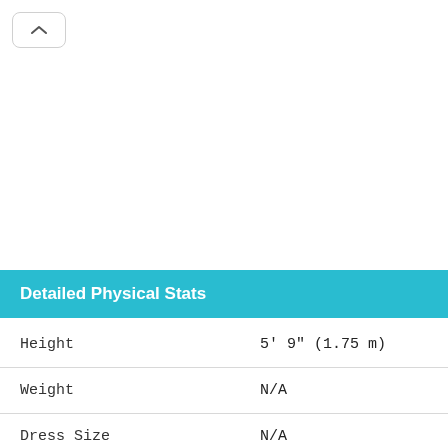Detailed Physical Stats
| Field | Value |
| --- | --- |
| Height | 5' 9" (1.75 m) |
| Weight | N/A |
| Dress Size | N/A |